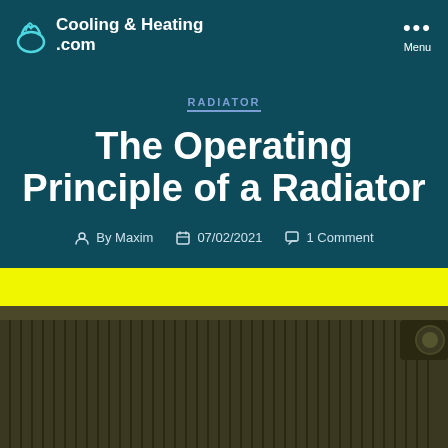Cooling & Heating .com
RADIATOR
The Operating Principle of a Radiator
By Maxim   07/02/2021   1 Comment
[Figure (photo): A dark bronze/olive colored panel radiator photographed against a bright yellow background. The radiator has vertical fins and a thermostatic valve on the right side.]